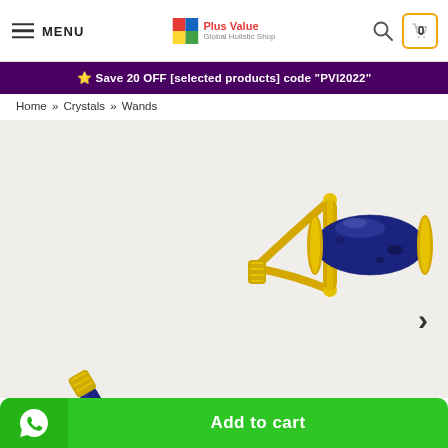MENU | Plus Value Global Holistic Shop | Search | Cart 0
Save 20 OFF [selected products] code "PVI2022"
Home » Crystals » Wands
[Figure (photo): Lapis Lazuli face roller with gold handle on white/off-white background]
Add to cart